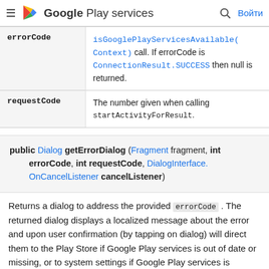≡ Google Play services 🔍 Войти
| Parameter | Description |
| --- | --- |
| errorCode | isGooglePlayServicesAvailable(Context) call. If errorCode is ConnectionResult.SUCCESS then null is returned. |
| requestCode | The number given when calling startActivityForResult. |
public Dialog getErrorDialog (Fragment fragment, int errorCode, int requestCode, DialogInterface.OnCancelListener cancelListener)
Returns a dialog to address the provided errorCode. The returned dialog displays a localized message about the error and upon user confirmation (by tapping on dialog) will direct them to the Play Store if Google Play services is out of date or missing, or to system settings if Google Play services is disabled on the device.